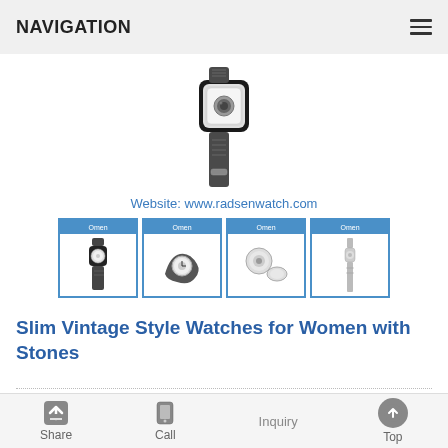NAVIGATION
[Figure (photo): Main product photo of a slim vintage style women's watch with stones, shown from above with dark strap]
Website: www.radsenwatch.com
[Figure (photo): Four thumbnail images of the watch product showing different angles and configurations]
Slim Vintage Style Watches for Women with Stones
Item No. RD1315
Material: alloy
Movement: quartz movement
Share  Call  Inquiry  Top